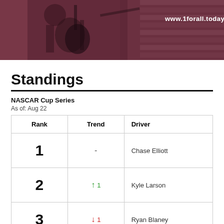[Figure (photo): Banner image with pink/red tinted overlay showing a person playing guitar, with website URL www.1forall.today in white text]
Standings
NASCAR Cup Series
As of: Aug 22
| Rank | Trend | Driver |
| --- | --- | --- |
| 1 | - | Chase Elliott |
| 2 | ↑ 1 | Kyle Larson |
| 3 | ↓ 1 | Ryan Blaney |
|  |  |  |